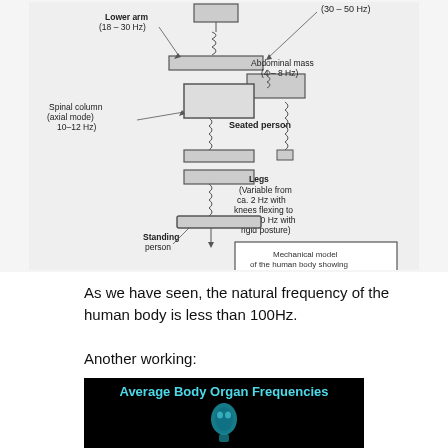[Figure (schematic): Mechanical model of the human body showing resonance frequency-ranges of the various body sections. Labels include: Lower arm (18-30 Hz), Abdominal mass (4-8 Hz), Spinal column (axial mode) 10-12 Hz, Seated person, Legs (Variable from ca. 2 Hz with knees flexing to over 20 Hz with rigid posture), Standing person, (30-50 Hz). Inset box: 'Mechanical model of the human body showing resonance frequency-ranges of the various body sections'.]
As we have seen, the natural frequency of the human body is less than 100Hz.
Another working:
[Figure (screenshot): Dark background image with cyan/blue title text reading 'Average Body Organ Frequencies' and a blue glowing head/face image below.]